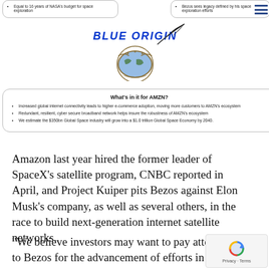Equal to 16 years of NASA's budget for space exploration
Bezos sees legacy defined by his space exploration efforts
[Figure (logo): Blue Origin logo with feather quill and crest emblem]
What's in it for AMZN?
Increased global internet connectivity leads to higher e-commerce adoption, moving more customers to AMZN's ecosystem
Redundant, resilient, cyber secure broadband network helps insure the robustness of AMZN's ecosystem
We estimate the $350bn Global Space industry will grow into a $1.0 trillion Global Space Economy by 2040.
Amazon last year hired the former leader of SpaceX's satellite program, CNBC reported in April, and Project Kuiper pits Bezos against Elon Musk's company, as well as several others, in the race to build next-generation internet satellite networks.
“We believe investors may want to pay attention to Bezos for the advancement of efforts in Space, as he demonstrated both the will and, increasingly, the